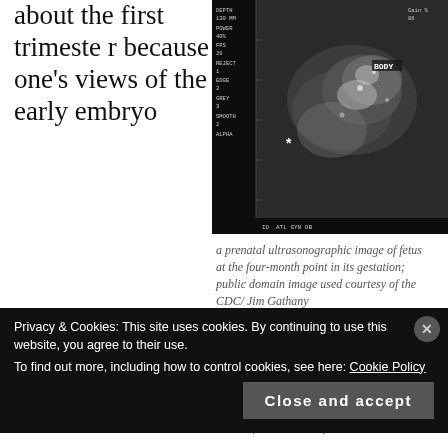about the first trimester because one's views of the early embryo
[Figure (photo): Prenatal ultrasonographic image of a fetus at the four-month point in its gestation, black and white ultrasound scan with measurement overlays and labels including BODY, ATL GYN OB, depth and power settings.]
a prenatal ultrasonographic image of fetus at the four-month point in its gestation; public domain image used courtesy of the CDC/ Jim Gathany
are largely a matter of belief, often religious belief.
One’s view of the later-term fetus, however, is more a
Privacy & Cookies: This site uses cookies. By continuing to use this website, you agree to their use.
To find out more, including how to control cookies, see here: Cookie Policy
Close and accept